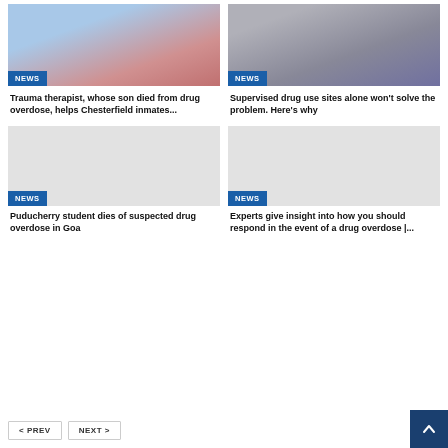[Figure (photo): Young man eating outdoors with pink flowers in background]
NEWS
Trauma therapist, whose son died from drug overdose, helps Chesterfield inmates...
[Figure (photo): People at a table, one wearing a mask]
NEWS
Supervised drug use sites alone won't solve the problem. Here's why
[Figure (photo): Gray placeholder image]
NEWS
Puducherry student dies of suspected drug overdose in Goa
[Figure (photo): Gray placeholder image]
NEWS
Experts give insight into how you should respond in the event of a drug overdose |...
< PREV   NEXT >